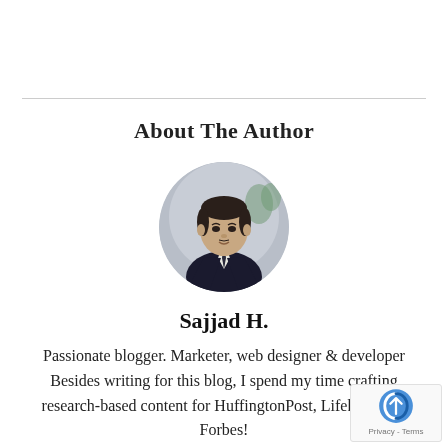About The Author
[Figure (photo): Circular cropped headshot photo of Sajjad H., a man in a dark suit with white shirt, light grey background with a plant visible]
Sajjad H.
Passionate blogger. Marketer, web designer & developer Besides writing for this blog, I spend my time crafting research-based content for HuffingtonPost, Lifehacker & Forbes!